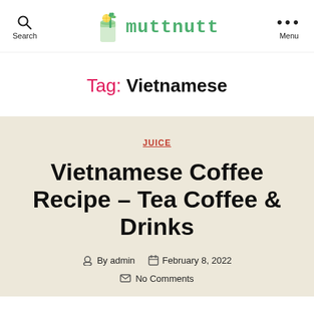Search | muttnutt | Menu
Tag: Vietnamese
JUICE
Vietnamese Coffee Recipe – Tea Coffee & Drinks
By admin   February 8, 2022
No Comments